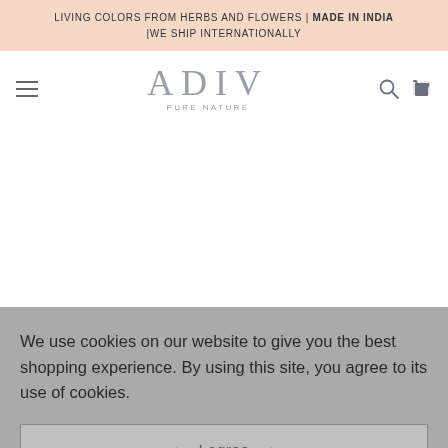LIVING COLORS FROM HERBS AND FLOWERS | MADE IN INDIA | WE SHIP INTERNATIONALLY
[Figure (logo): ADIV PURE NATURE logo with hamburger menu, search icon, and cart icon in navigation bar]
We use cookies on our website to give you the best shopping experience. By using this site, you agree to its use of cookies.
I agree